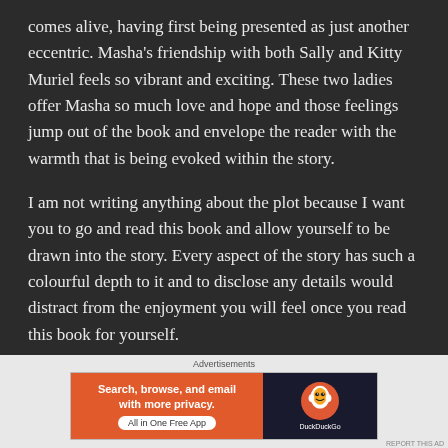comes alive, having first being presented as just another eccentric. Masha's friendship with both Sally and Kitty Muriel feels so vibrant and exciting. These two ladies offer Masha so much love and hope and those feelings jump out of the book and envelope the reader with the warmth that is being evoked within the story.

I am not writing anything about the plot because I want you to go and read this book and allow yourself to be drawn into the story. Every aspect of the story has such a colourful depth to it and to disclose any details would distract from the enjoyment you will feel once you read this book for yourself.
[Figure (screenshot): DuckDuckGo advertisement banner: orange left panel with text 'Search, browse, and email with more privacy. All in One Free App' and dark right panel with DuckDuckGo duck logo and brand name.]